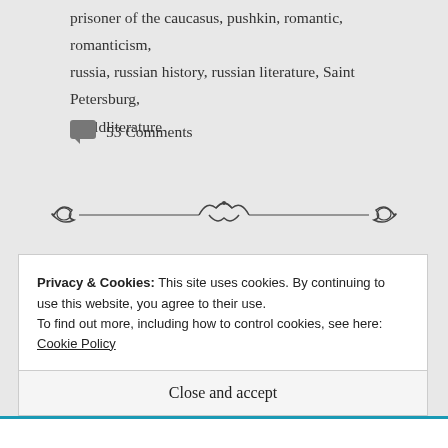prisoner of the caucasus, pushkin, romantic, romanticism, russia, russian history, russian literature, Saint Petersburg, worldliterature
53 Comments
[Figure (illustration): Decorative ornamental divider with swirling flourishes and scrollwork]
Privacy & Cookies: This site uses cookies. By continuing to use this website, you agree to their use. To find out more, including how to control cookies, see here: Cookie Policy
Close and accept